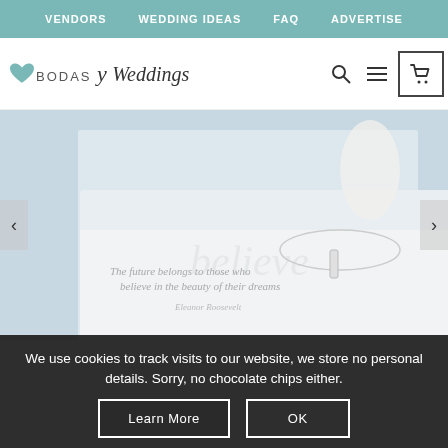VENDORS  WEDDING IDEAS  FAQ  ADVERTISE
[Figure (logo): Bodas y Weddings logo with teal heart and script text]
[Figure (photo): Slideshow image showing 'believe' jewelry necklace with inspirational quote card on light blue background]
We use cookies to track visits to our website, we store no personal details. Sorry, no chocolate chips either.
Learn More   OK